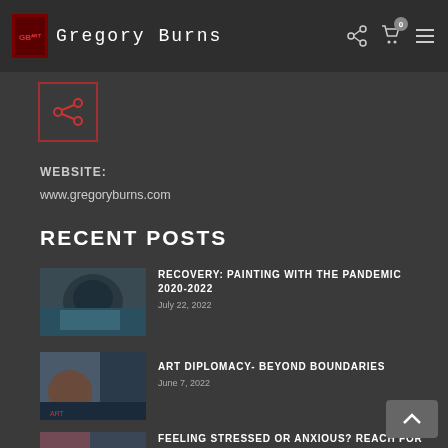Gregory Burns
[Figure (logo): Share/social icon in red-bordered box]
WEBSITE:
www.gregoryburns.com
RECENT POSTS
[Figure (photo): Thumbnail image for post 1 - painting closeup]
RECOVERY: PAINTING WITH THE PANDEMIC 2020-2022
July 22, 2022
[Figure (photo): Thumbnail image for post 2 - art diplomacy]
ART DIPLOMACY- BEYOND BOUNDARIES
June 7, 2022
[Figure (photo): Thumbnail image for post 3 - stressed or anxious]
FEELING STRESSED OR ANXIOUS? REACH FOR A PENCIL OR PAINTBRUSH INSTEAD